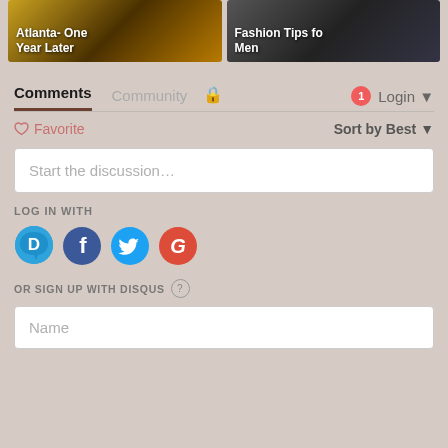[Figure (screenshot): Two article thumbnail cards side by side. Left card shows 'Atlanta- One Year Later' on a dark golden city background. Right card shows 'Fashion Tips for Men' on a dark suit background.]
Comments  Community  🔒  1  Login
♡ Favorite    Sort by Best
Start the discussion…
LOG IN WITH
[Figure (infographic): Four social login icons: Disqus (D, blue speech bubble), Facebook (f, dark blue circle), Twitter (bird, light blue circle), Google (G, red circle)]
OR SIGN UP WITH DISQUS ?
Name